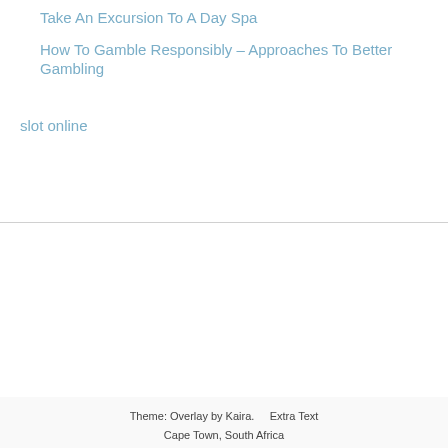Take An Excursion To A Day Spa
How To Gamble Responsibly – Approaches To Better Gambling
slot online
Theme: Overlay by Kaira.     Extra Text
Cape Town, South Africa